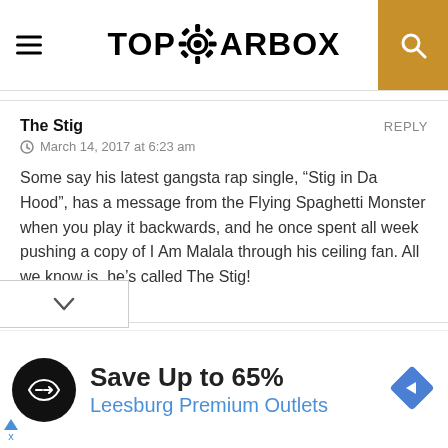TOPGEARBOX
The Stig
March 14, 2017 at 6:23 am
REPLY
Some say his latest gangsta rap single, “Stig in Da Hood”, has a message from the Flying Spaghetti Monster when you play it backwards, and he once spent all week pushing a copy of I Am Malala through his ceiling fan. All we know is, he’s called The Stig!
The Stig
March 14, 2017 at 6:21 am
REPLY
[Figure (infographic): Advertisement bar: black circular logo with arrow symbol, text 'Save Up to 65%' and 'Leesburg Premium Outlets' in blue, with blue diamond direction arrow icon on right.]